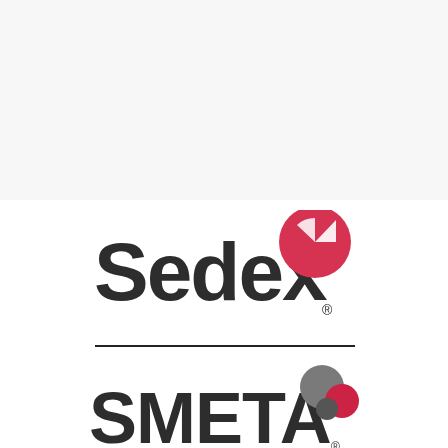[Figure (logo): Sedex logo: bold dark gray text 'Sedex' with a red circular arrow icon to the upper right of the 'x', and a registered trademark symbol]
[Figure (logo): SMETA logo: bold dark gray text 'SMETA' with colorful circles (large gray, medium red, small gray) to the upper right, and a registered trademark symbol]